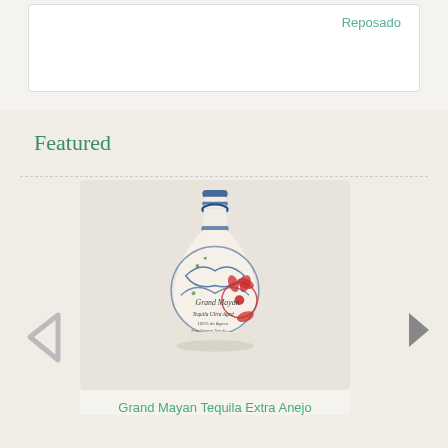Reposado
Featured
[Figure (photo): Grand Mayan Tequila Extra Anejo bottle — a round, short-necked ceramic bottle decorated with colorful blue, red, and green hand-painted floral and bird patterns on a cream background. The label reads 'Grand Mayan Tequila Ultra Aged'.]
Grand Mayan Tequila Extra Anejo